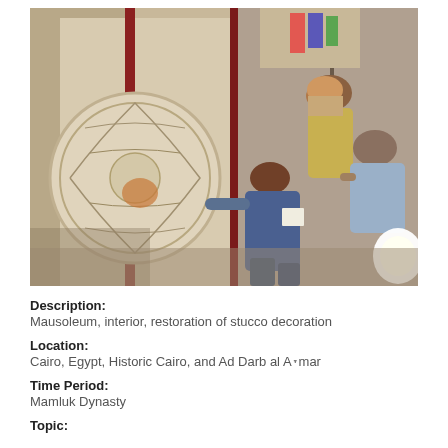[Figure (photo): Workers restoring stucco decoration on the interior wall of a mausoleum, showing a large ornate circular carved panel with floral and arabesque patterns. Several men are working on the restoration, examining and touching the carved surface. The setting appears to be an Islamic historic building interior.]
Description: Mausoleum, interior, restoration of stucco decoration
Location: Cairo, Egypt, Historic Cairo, and Ad Darb al Aḥmar
Time Period: Mamluk Dynasty
Topic: